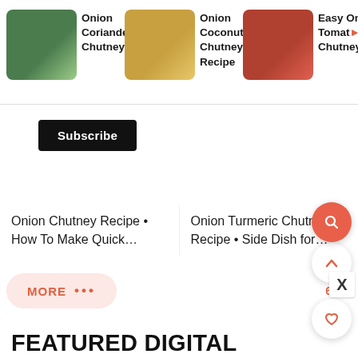[Figure (screenshot): Recipe carousel showing three items: Onion Coriander Chutney, Onion Coconut Chutney Recipe, Easy Onion Tomato Chutney with food photos]
Onion Coriander Chutney…
Onion Coconut Chutney Recipe
Easy Onion Tomato Chutney…
Subscribe
Onion Chutney Recipe • How To Make Quick…
Onion Turmeric Chutney Recipe • Side Dish for…
MORE •••
62
FEATURED DIGITAL CIRCULAR DEALS
[Figure (infographic): SHE Partner Network advertisement banner with woman photo, bullet points: Earning site & social revenue, Traffic growth, Speaking on our stages; SHE PARTNER NETWORK BECOME A MEMBER logo; LEARN MORE button]